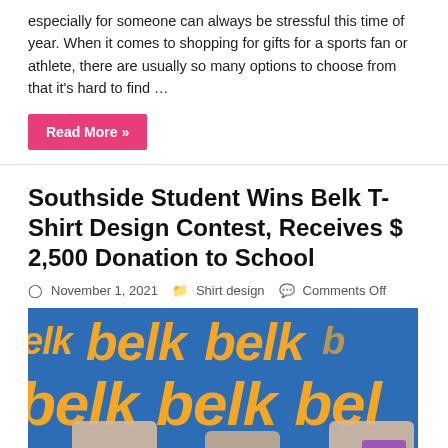especially for someone can always be stressful this time of year. When it comes to shopping for gifts for a sports fan or athlete, there are usually so many options to choose from that it's hard to find …
Read More »
Southside Student Wins Belk T-Shirt Design Contest, Receives $ 2,500 Donation to School
November 1, 2021   Shirt design   Comments Off
[Figure (photo): Photo of three women wearing masks standing in front of a Belk store branded backdrop with orange 'belk' logos repeated on blue background]